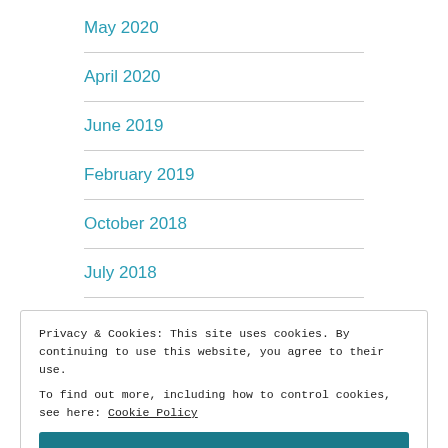May 2020
April 2020
June 2019
February 2019
October 2018
July 2018
Privacy & Cookies: This site uses cookies. By continuing to use this website, you agree to their use.
To find out more, including how to control cookies, see here: Cookie Policy
October 2014